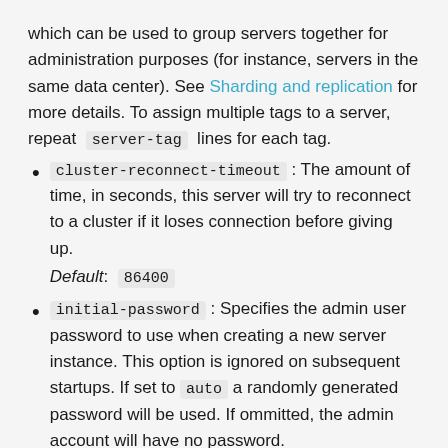which can be used to group servers together for administration purposes (for instance, servers in the same data center). See Sharding and replication for more details. To assign multiple tags to a server, repeat server-tag lines for each tag.
cluster-reconnect-timeout : The amount of time, in seconds, this server will try to reconnect to a cluster if it loses connection before giving up.
Default: 86400
initial-password : Specifies the admin user password to use when creating a new server instance. This option is ignored on subsequent startups. If set to auto a randomly generated password will be used. If ommitted, the admin account will have no password.